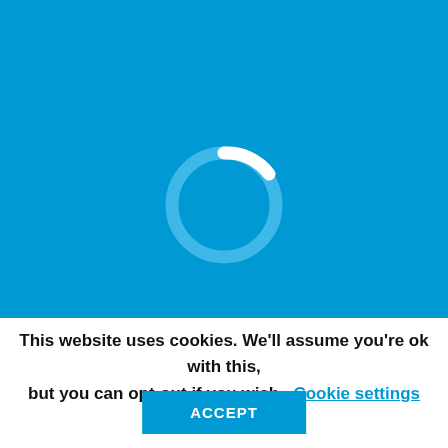[Figure (screenshot): Blue loading screen with a circular spinner/loading ring in the center. The ring is mostly a lighter blue with a white arc on the upper-right portion, indicating loading in progress.]
This website uses cookies. We'll assume you're ok with this, but you can opt-out if you wish. Cookie settings
ACCEPT